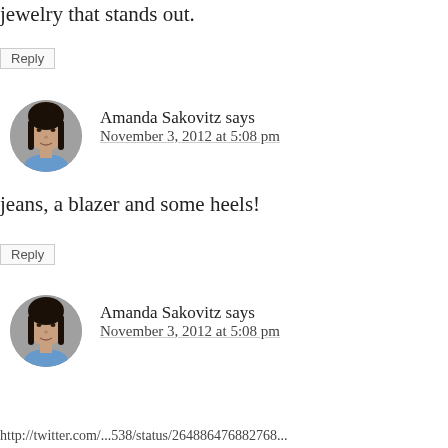jewelry that stands out.
Reply
[Figure (photo): Circular avatar photo of Amanda Sakovitz, a woman with dark hair]
Amanda Sakovitz says
November 3, 2012 at 5:08 pm
jeans, a blazer and some heels!
Reply
[Figure (photo): Circular avatar photo of Amanda Sakovitz, a woman with dark hair]
Amanda Sakovitz says
November 3, 2012 at 5:08 pm
http://twitter.com/...538/status/264886476882768...